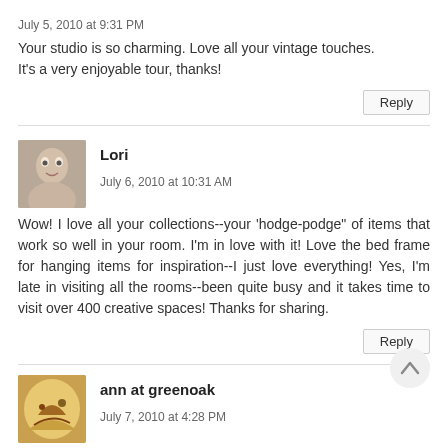July 5, 2010 at 9:31 PM
Your studio is so charming. Love all your vintage touches. It's a very enjoyable tour, thanks!
Reply
Lori
July 6, 2010 at 10:31 AM
Wow! I love all your collections--your 'hodge-podge" of items that work so well in your room. I'm in love with it! Love the bed frame for hanging items for inspiration--I just love everything! Yes, I'm late in visiting all the rooms--been quite busy and it takes time to visit over 400 creative spaces! Thanks for sharing.
Reply
ann at greenoak
July 7, 2010 at 4:28 PM